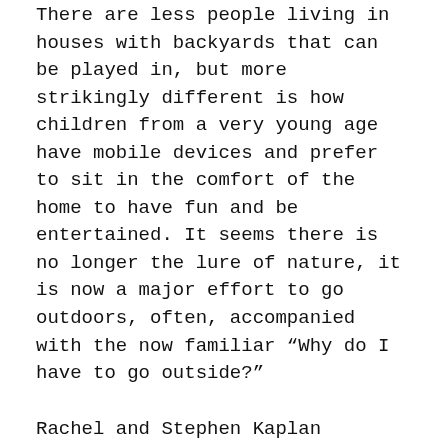There are less people living in houses with backyards that can be played in, but more strikingly different is how children from a very young age have mobile devices and prefer to sit in the comfort of the home to have fun and be entertained. It seems there is no longer the lure of nature, it is now a major effort to go outdoors, often, accompanied with the now familiar “Why do I have to go outside?”
Rachel and Stephen Kaplan professors at the University of Michigan specializing in environmental psychology were aware of this trend back in the 1980’s. They published their book of 20 years research on the topic of nature and its impact on the body mind and spirit, The Experience of Nature: A Psychological Perspective10 . The Kaplan’s suggest that because humans are natural living organisms, we as a species inherently feel connected with other living